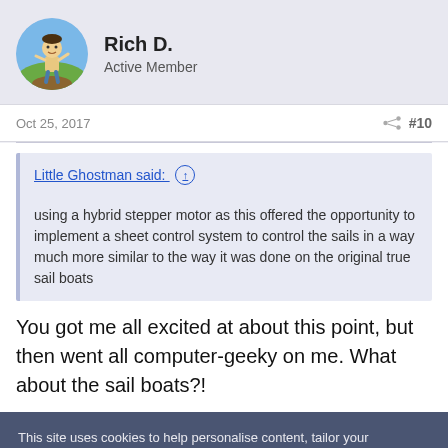[Figure (illustration): Avatar of user Rich D. - cartoon figure on green/brown ground with blue sky background]
Rich D.
Active Member
Oct 25, 2017
#10
Little Ghostman said: ↑
using a hybrid stepper motor as this offered the opportunity to implement a sheet control system to control the sails in a way much more similar to the way it was done on the original true sail boats
You got me all excited at about this point, but then went all computer-geeky on me. What about the sail boats?!
This site uses cookies to help personalise content, tailor your experience and to keep you logged in if you register.
By continuing to use this site, you are consenting to our use of cookies.
✓ Accept
Learn more...